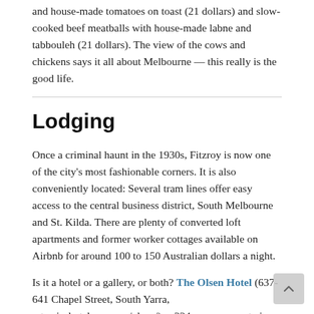and house-made tomatoes on toast (21 dollars) and slow-cooked beef meatballs with house-made labne and tabbouleh (21 dollars). The view of the cows and chickens says it all about Melbourne — this really is the good life.
Lodging
Once a criminal haunt in the 1930s, Fitzroy is now one of the city's most fashionable corners. It is also conveniently located: Several tram lines offer easy access to the central business district, South Melbourne and St. Kilda. There are plenty of converted loft apartments and former worker cottages available on Airbnb for around 100 to 150 Australian dollars a night.
Is it a hotel or a gallery, or both? The Olsen Hotel (637-641 Chapel Street, South Yarra, artserieshotels.com.au/olsen/), a 224-room property in South Yarra, is dedicated to the 91-year-old landscape artist, John Olsen, one of Australia's most accomplished painters, with his works scattered throughout.